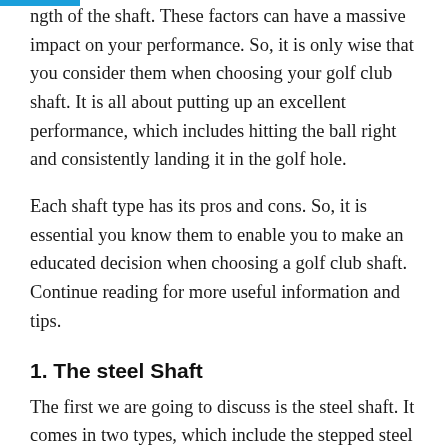ngth of the shaft. These factors can have a massive impact on your performance. So, it is only wise that you consider them when choosing your golf club shaft. It is all about putting up an excellent performance, which includes hitting the ball right and consistently landing it in the golf hole.
Each shaft type has its pros and cons. So, it is essential you know them to enable you to make an educated decision when choosing a golf club shaft. Continue reading for more useful information and tips.
1. The steel Shaft
The first we are going to discuss is the steel shaft. It comes in two types, which include the stepped steel and the rifle steel shaft. Anyway, let's talk about the steel shaft in more depth.